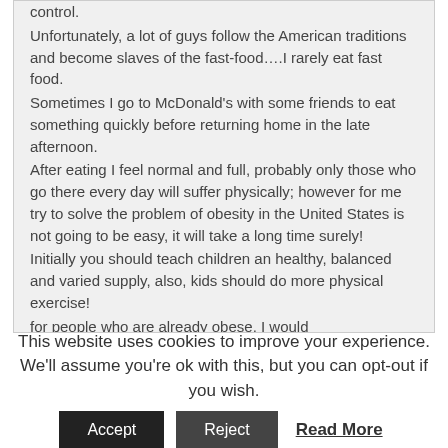control. Unfortunately, a lot of guys follow the American traditions and become slaves of the fast-food….I rarely eat fast food. Sometimes I go to McDonald's with some friends to eat something quickly before returning home in the late afternoon. After eating I feel normal and full, probably only those who go there every day will suffer physically; however for me try to solve the problem of obesity in the United States is not going to be easy, it will take a long time surely! Initially you should teach children an healthy, balanced and varied supply, also, kids should do more physical exercise! for people who are already obese, I would
This website uses cookies to improve your experience. We'll assume you're ok with this, but you can opt-out if you wish.